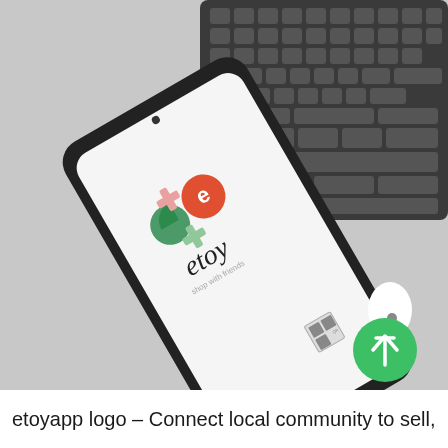[Figure (photo): A smartphone lying flat on a light gray surface next to a dark keyboard and white wireless earbuds. The phone screen displays the etoy app logo — colorful icons of game controller shapes in green, red/orange colors alongside the text 'etoy'. A green circular button with an upward arrow icon is overlaid in the bottom-right corner of the image.]
etoyapp logo – Connect local community to sell,